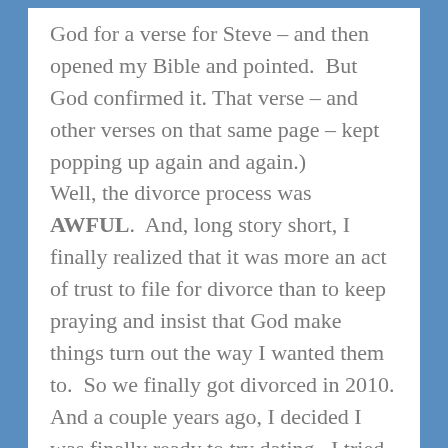God for a verse for Steve – and then opened my Bible and pointed.  But God confirmed it. That verse – and other verses on that same page – kept popping up again and again.) Well, the divorce process was AWFUL.  And, long story short, I finally realized that it was more an act of trust to file for divorce than to keep praying and insist that God make things turn out the way I wanted them to.  So we finally got divorced in 2010. And a couple years ago, I decided I was finally ready to try dating.  I tried online